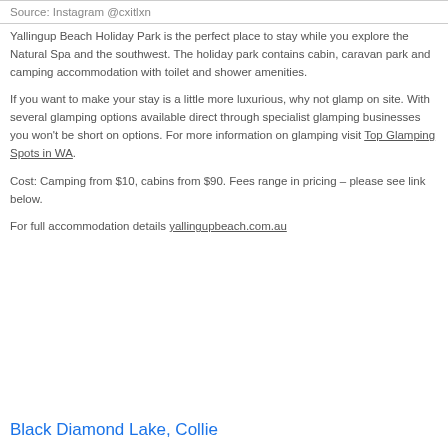Source: Instagram @cxitlxn
Yallingup Beach Holiday Park is the perfect place to stay while you explore the Natural Spa and the southwest. The holiday park contains cabin, caravan park and camping accommodation with toilet and shower amenities.
If you want to make your stay is a little more luxurious, why not glamp on site. With several glamping options available direct through specialist glamping businesses you won't be short on options. For more information on glamping visit Top Glamping Spots in WA.
Cost: Camping from $10, cabins from $90. Fees range in pricing – please see link below.
For full accommodation details yallingupbeach.com.au
Black Diamond Lake, Collie